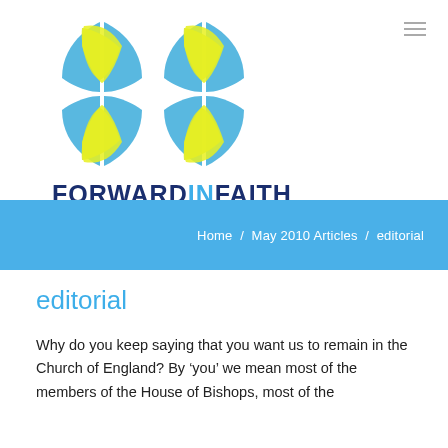[Figure (logo): Forward in Faith logo: four shield/leaf shapes arranged in a cross pattern with blue outlines and yellow-green fill, above the text FORWARD IN FAITH in dark blue and blue.]
Home / May 2010 Articles / editorial
editorial
Why do you keep saying that you want us to remain in the Church of England? By 'you' we mean most of the members of the House of Bishops, most of the